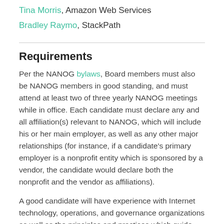Tina Morris, Amazon Web Services
Bradley Raymo, StackPath
Requirements
Per the NANOG bylaws, Board members must also be NANOG members in good standing, and must attend at least two of three yearly NANOG meetings while in office. Each candidate must declare any and all affiliation(s) relevant to NANOG, which will include his or her main employer, as well as any other major relationships (for instance, if a candidate's primary employer is a nonprofit entity which is sponsored by a vendor, the candidate would declare both the nonprofit and the vendor as affiliations).
A good candidate will have experience with Internet technology, operations, and governance organizations as well as the principles and practices which guide them